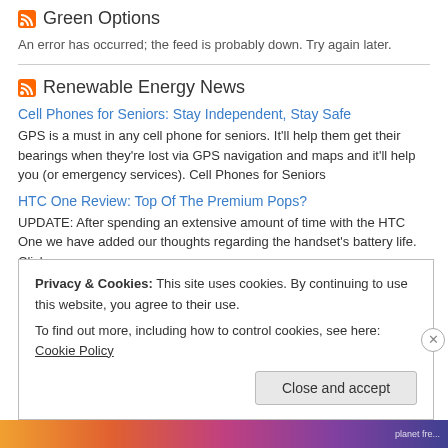Green Options
An error has occurred; the feed is probably down. Try again later.
Renewable Energy News
Cell Phones for Seniors: Stay Independent, Stay Safe
GPS is a must in any cell phone for seniors. It'll help them get their bearings when they're lost via GPS navigation and maps and it'll help you (or emergency services). Cell Phones for Seniors
HTC One Review: Top Of The Premium Pops?
UPDATE: After spending an extensive amount of time with the HTC One we have added our thoughts regarding the handset's battery life. Click
Privacy & Cookies: This site uses cookies. By continuing to use this website, you agree to their use.
To find out more, including how to control cookies, see here: Cookie Policy
Close and accept